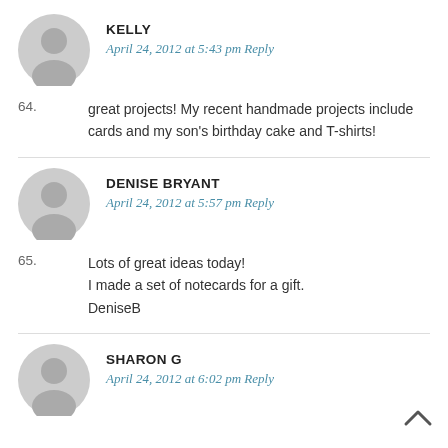[Figure (illustration): Gray circular avatar icon for user Kelly]
KELLY
April 24, 2012 at 5:43 pm Reply
64. great projects! My recent handmade projects include cards and my son's birthday cake and T-shirts!
[Figure (illustration): Gray circular avatar icon for user Denise Bryant]
DENISE BRYANT
April 24, 2012 at 5:57 pm Reply
65. Lots of great ideas today! I made a set of notecards for a gift. DeniseB
[Figure (illustration): Gray circular avatar icon for user Sharon G]
SHARON G
April 24, 2012 at 6:02 pm Reply